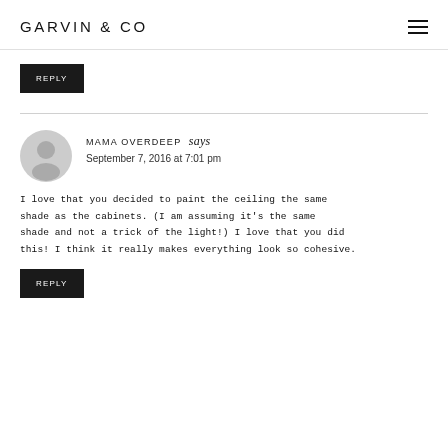GARVIN & CO
REPLY
MAMA OVERDEEP says
September 7, 2016 at 7:01 pm
I love that you decided to paint the ceiling the same shade as the cabinets. (I am assuming it's the same shade and not a trick of the light!) I love that you did this! I think it really makes everything look so cohesive.
REPLY